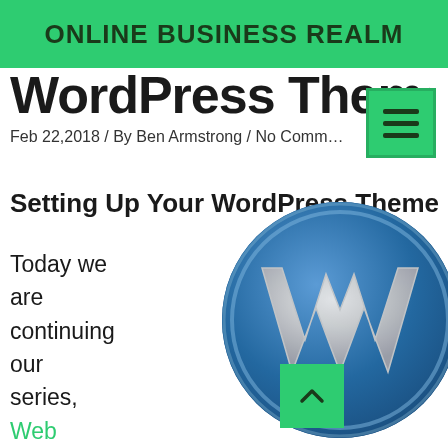ONLINE BUSINESS REALM
WordPress Theme
Feb 22,2018 / By Ben Armstrong / No Comments
Setting Up Your WordPress Theme
Today we are continuing our series, Web
[Figure (logo): WordPress logo — large blue circle with white W letter mark, 3D rendered style]